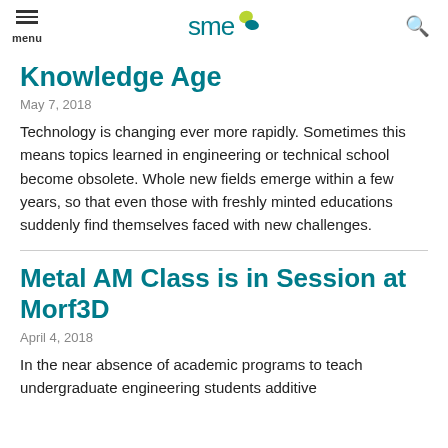SME logo, menu, search
Knowledge Age
May 7, 2018
Technology is changing ever more rapidly. Sometimes this means topics learned in engineering or technical school become obsolete. Whole new fields emerge within a few years, so that even those with freshly minted educations suddenly find themselves faced with new challenges.
Metal AM Class is in Session at Morf3D
April 4, 2018
In the near absence of academic programs to teach undergraduate engineering students additive